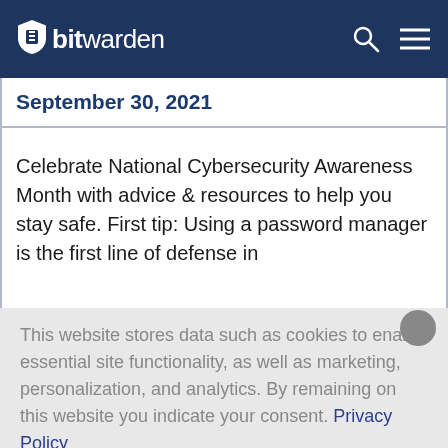bitwarden
September 30, 2021
Celebrate National Cybersecurity Awareness Month with advice & resources to help you stay safe. First tip: Using a password manager is the first line of defense in
This website stores data such as cookies to enable essential site functionality, as well as marketing, personalization, and analytics. By remaining on this website you indicate your consent. Privacy Policy